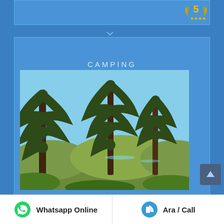[Figure (screenshot): Top card area with light blue background and gold award badge with stars in the top right corner]
[Figure (photo): Camping photo showing tall pine/conifer trees with turquoise water visible in the background under a bright sky. Text overlay reads CAMPING.]
CAMPING
[Figure (illustration): Scroll-to-top button with upward arrow icon on dark background]
Whatsapp Online
Ara / Call